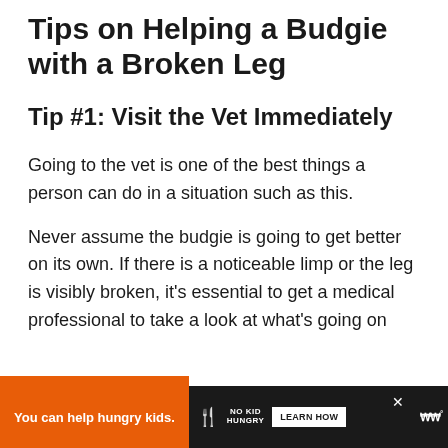Tips on Helping a Budgie with a Broken Leg
Tip #1: Visit the Vet Immediately
Going to the vet is one of the best things a person can do in a situation such as this.
Never assume the budgie is going to get better on its own. If there is a noticeable limp or the leg is visibly broken, it's essential to get a medical professional to take a look at what's going on.
[Figure (other): Advertisement banner at the bottom of the page. Orange section on left reads 'You can help hungry kids.' followed by No Kid Hungry logo and a white 'LEARN HOW' button. Dark background. X close button and WW logo on right.]